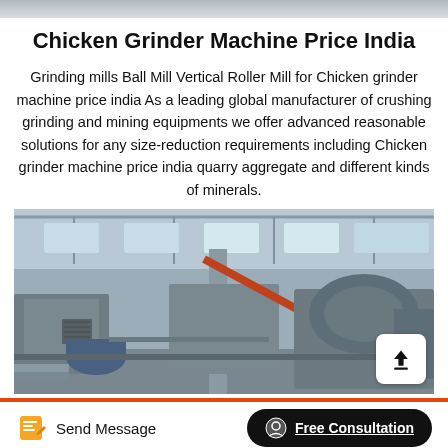Chicken Grinder Machine Price India
Grinding mills Ball Mill Vertical Roller Mill for Chicken grinder machine price india As a leading global manufacturer of crushing grinding and mining equipments we offer advanced reasonable solutions for any size-reduction requirements including Chicken grinder machine price india quarry aggregate and different kinds of minerals.
[Figure (photo): Industrial factory interior showing large grinding/milling machines including what appears to be a ball mill or similar heavy industrial equipment in a metal shed structure with skylights]
Send Message   Free Consultation